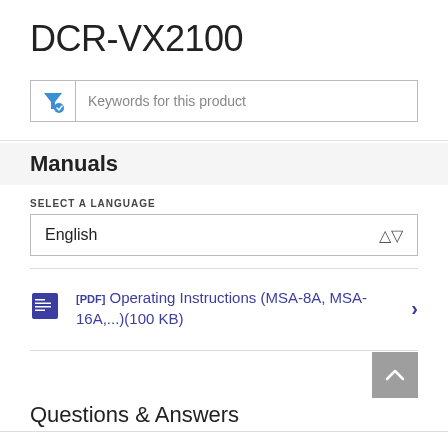DCR-VX2100
[Figure (other): Search/filter bar with funnel icon and placeholder text 'Keywords for this product']
Manuals
SELECT A LANGUAGE
[Figure (other): Dropdown selector showing 'English' with up/down arrow]
[PDF] Operating Instructions (MSA-8A, MSA-16A,...)(100 KB)
Questions & Answers